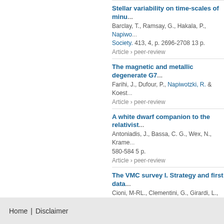Stellar variability on time-scales of minu... Barclay, T., Ramsay, G., Hakala, P., Napiwotzki, R. ... Society. 413, 4, p. 2696-2708 13 p. Article › peer-review
The magnetic and metallic degenerate G7... Farihi, J., Dufour, P., Napiwotzki, R. & Koest... Article › peer-review
A white dwarf companion to the relativist... Antoniadis, J., Bassa, C. G., Wex, N., Krame... 580-584 5 p. Article › peer-review
The VMC survey I. Strategy and first data... Cioni, M-RL., Clementini, G., Girardi, L., Gua... Cross, N. J. G., de Blok, W. J. G., de Grijs, R... 14 others, , Mar 2011, In: Astronomy and As... Article › peer-review
Binaries discovered by the MUCHFUSS p... Geier, S., Schaffenroth, V., Drechsel, H., He... N., Gansicke, B. T., Marsh, T. R. & Napiwotz... Article › peer-review
Binaries discovered by the SPY survey V. EGB5-a recently ejected common envelop... Geier, S., Napiwotzki, R., Heber, U. & Nelem... Article › peer-review
Previous 1 2 3 4 5 6 7 Next
Home | Disclaimer